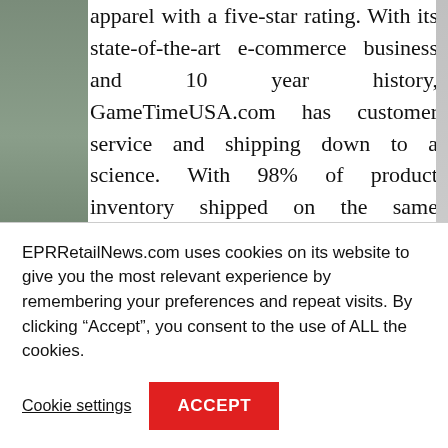apparel with a five-star rating. With its state-of-the-art e-commerce business and 10 year history, GameTimeUSA.com has customer service and shipping down to a science. With 98% of product inventory shipped on the same business day orders are placed and quick response and readily available order information, sports fans are primed for quality products, excellent service and amazing prices.
In addition to NCAA Basketball apparel and other merchandise, GameTimeUSA.com has NFL jerseys, MLB jerseys, NHL jerseys, college football jerseys,
EPRRetailNews.com uses cookies on its website to give you the most relevant experience by remembering your preferences and repeat visits. By clicking “Accept”, you consent to the use of ALL the cookies.
Cookie settings
ACCEPT